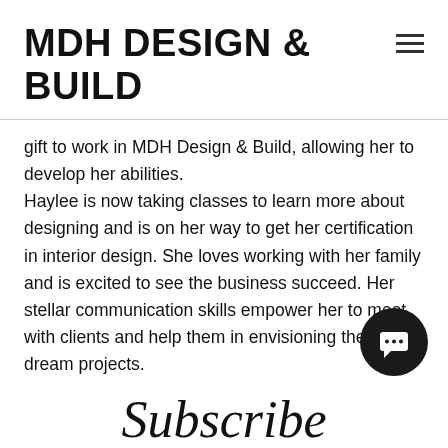MDH DESIGN & BUILD
gift to work in MDH Design & Build, allowing her to develop her abilities. Haylee is now taking classes to learn more about designing and is on her way to get her certification in interior design. She loves working with her family and is excited to see the business succeed. Her stellar communication skills empower her to meet with clients and help them in envisioning their dream projects.
[Figure (illustration): Black circular chat/message button icon]
Subscribe